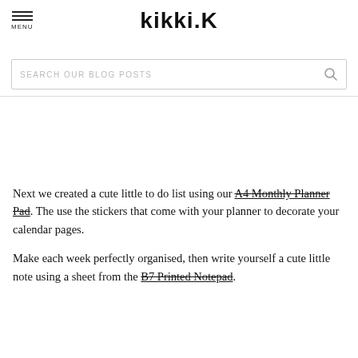kikki.K
Next we created a cute little to do list using our A4 Monthly Planner Pad. The use the stickers that come with your planner to decorate your calendar pages.
Make each week perfectly organised, then write yourself a cute little note using a sheet from the B7 Printed Notepad.